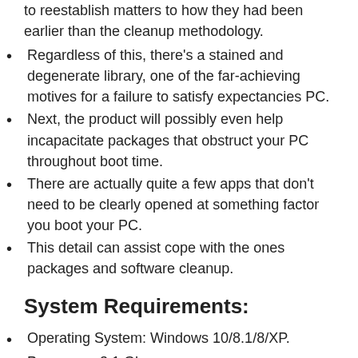to reestablish matters to how they had been earlier than the cleanup methodology.
Regardless of this, there's a stained and degenerate library, one of the far-achieving motives for a failure to satisfy expectancies PC.
Next, the product will possibly even help incapacitate packages that obstruct your PC throughout boot time.
There are actually quite a few apps that don't need to be clearly opened at something factor you boot your PC.
This detail can assist cope with the ones packages and software cleanup.
System Requirements:
Operating System: Windows 10/8.1/8/XP.
Processor: 3.1 Ghz.
RAM: 432MB free memory requireded.
Hard Disk: 2 GB free space